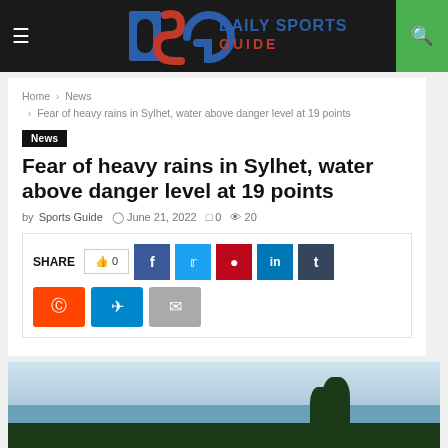Daily Sports Guide
Home > News > Fear of heavy rains in Sylhet, water above danger level at 19 points
News
Fear of heavy rains in Sylhet, water above danger level at 19 points
by Sports Guide  June 21, 2022  0  20
SHARE  0  f  t  p  in  t  reddit  telegram  email
[Figure (photo): Flooded landscape with water, sky, and treeline in Sylhet]